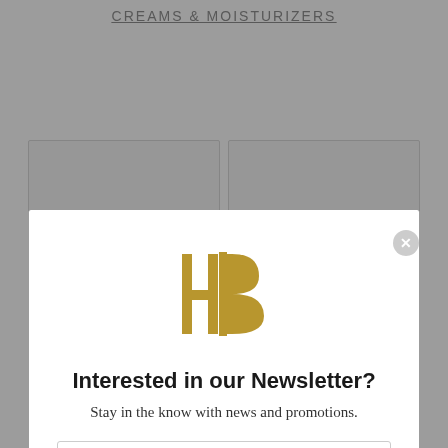CREAMS & MOISTURIZERS
[Figure (screenshot): Two product card placeholders (greyed out rectangles) visible behind a modal overlay]
[Figure (logo): HB monogram logo in gold/dark yellow]
Interested in our Newsletter?
Stay in the know with news and promotions.
Enter your email address
Subscribe